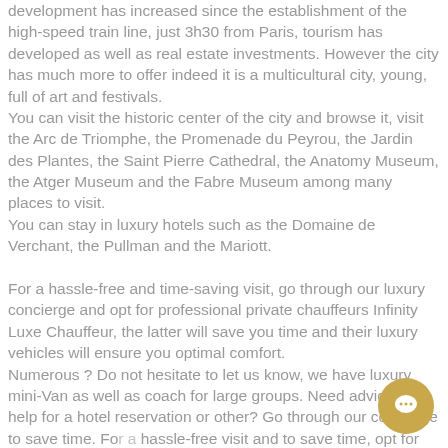development has increased since the establishment of the high-speed train line, just 3h30 from Paris, tourism has developed as well as real estate investments. However the city has much more to offer indeed it is a multicultural city, young, full of art and festivals.
You can visit the historic center of the city and browse it, visit the Arc de Triomphe, the Promenade du Peyrou, the Jardin des Plantes, the Saint Pierre Cathedral, the Anatomy Museum, the Atger Museum and the Fabre Museum among many places to visit.
You can stay in luxury hotels such as the Domaine de Verchant, the Pullman and the Mariott.
For a hassle-free and time-saving visit, go through our luxury concierge and opt for professional private chauffeurs Infinity Luxe Chauffeur, the latter will save you time and their luxury vehicles will ensure you optimal comfort.
Numerous ? Do not hesitate to let us know, we have luxury mini-Van as well as coach for large groups. Need advice or help for a hotel reservation or other? Go through our concierge to save time. For a hassle-free visit and to save time, opt for professional private drivers